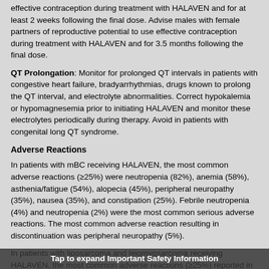effective contraception during treatment with HALAVEN and for at least 2 weeks following the final dose. Advise males with female partners of reproductive potential to use effective contraception during treatment with HALAVEN and for 3.5 months following the final dose.
QT Prolongation: Monitor for prolonged QT intervals in patients with congestive heart failure, bradyarrhythmias, drugs known to prolong the QT interval, and electrolyte abnormalities. Correct hypokalemia or hypomagnesemia prior to initiating HALAVEN and monitor these electrolytes periodically during therapy. Avoid in patients with congenital long QT syndrome.
Adverse Reactions
In patients with mBC receiving HALAVEN, the most common adverse reactions (≥25%) were neutropenia (82%), anemia (58%), asthenia/fatigue (54%), alopecia (45%), peripheral neuropathy (35%), nausea (35%), and constipation (25%). Febrile neutropenia (4%) and neutropenia (2%) were the most common serious adverse reactions. The most common adverse reaction resulting in discontinuation was peripheral neuropathy (5%).
In patients with liposarcoma and leiomyosarcoma receiving HALAVEN, the most common adverse reactions (≥25%) reported in patients receiving HALAVEN were fatigue (62%), nausea (41%), alopecia (35%), constipation (32%), peripheral neuropathy (29%), abdominal pain (29%), and pyrexia (28%). The most common (≥5%) Grade 3-4 laboratory abnormalities reported in patients receiving HALAVEN were neutropenia (32%), hypokalemia (5.4%), and hypocalcemia (5%). Neutropenia (4.9%) and pyrexia (4.5%) were the most common serious adverse reactions. The most common adverse reactions resulting in discontinuation were fatigue and
Tap to expand Important Safety Information